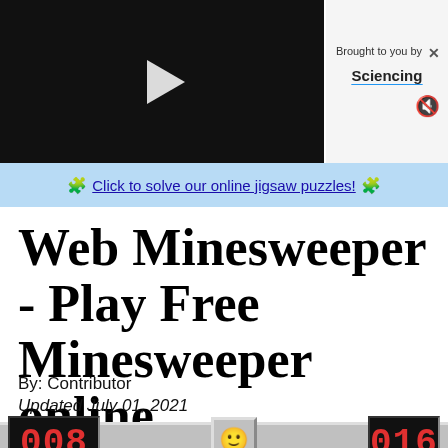[Figure (screenshot): Video player with dark background and white play button triangle in center]
Brought to you by
Sciencing
🧩 Click to solve our online jigsaw puzzles! 🧩
Web Minesweeper - Play Free Minesweeper online
By: Contributor
Updated July 01, 2021
[Figure (screenshot): Minesweeper game panel showing mine counter (008), smiley face reset button, and timer (016) on gray background with game grid cells below]